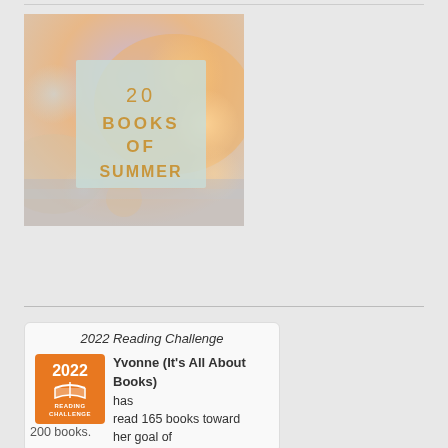[Figure (illustration): 20 Books of Summer promotional image with blurred sunset bokeh background and light blue square overlay showing golden text '20 BOOKS OF SUMMER']
2022 Reading Challenge
[Figure (logo): 2022 Reading Challenge badge - orange square badge with '2022' text, open book icon, and 'READING CHALLENGE' text]
Yvonne (It's All About Books) has read 165 books toward her goal of 200 books.